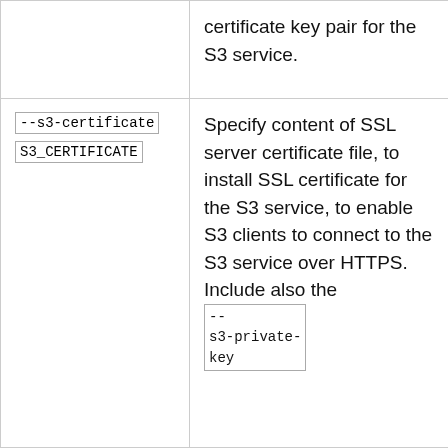|  | certificate key pair for the S3 service. |
| --s3-certificate
S3_CERTIFICATE | Specify content of SSL server certificate file, to install SSL certificate for the S3 service, to enable S3 clients to connect to the S3 service over HTTPS. Include also the --s3-private-key |